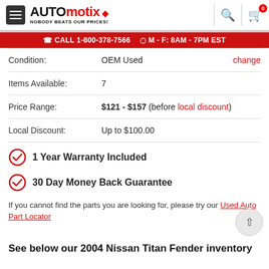[Figure (logo): Automotix logo with hamburger menu, tagline NOBODY BEATS OUR PRICES!, search icon, and cart icon with badge 0]
CALL 1-800-378-7566   M - F: 8AM - 7PM EST
| Condition: | OEM Used | change |
| Items Available: | 7 |  |
| Price Range: | $121 - $157 (before local discount) |  |
| Local Discount: | Up to $100.00 |  |
1 Year Warranty Included
30 Day Money Back Guarantee
If you cannot find the parts you are looking for, please try our Used Auto Part Locator
See below our 2004 Nissan Titan Fender inventory